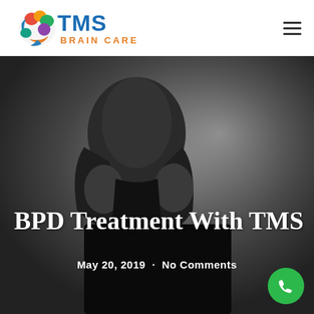[Figure (logo): TMS Brain Care logo with colorful brain graphic and blue/orange text]
[Figure (photo): Black and white photo of a person holding their head with both hands, appearing distressed, used as a hero background image]
BPD Treatment With TMS
May 20, 2019  ·  No Comments